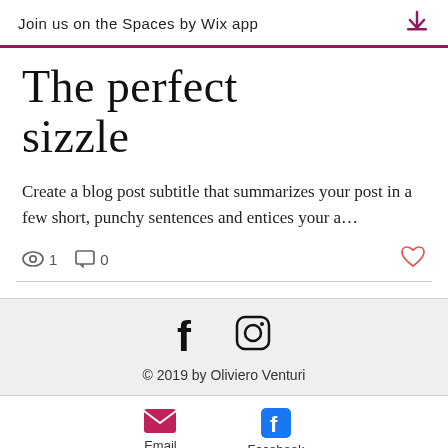Join us on the Spaces by Wix app
The perfect sizzle
Create a blog post subtitle that summarizes your post in a few short, punchy sentences and entices your a…
1  0
© 2019 by Oliviero Venturi
Email    Facebook